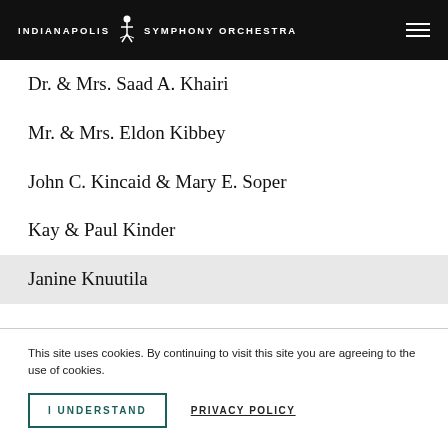Indianapolis Symphony Orchestra
Dr. & Mrs. Saad A. Khairi
Mr. & Mrs. Eldon Kibbey
John C. Kincaid & Mary E. Soper
Kay & Paul Kinder
Janine Knuutila
This site uses cookies. By continuing to visit this site you are agreeing to the use of cookies.
I UNDERSTAND
PRIVACY POLICY